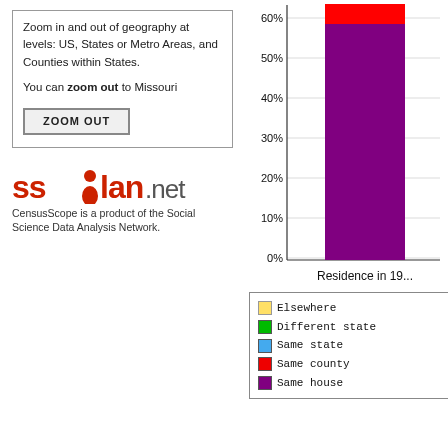Zoom in and out of geography at levels: US, States or Metro Areas, and Counties within States.

You can zoom out to Missouri
ZOOM OUT
[Figure (stacked-bar-chart): Residence in 19...]
Residence in 19...
Elsewhere
Different state
Same state
Same county
Same house
An essential value of the American li... respondents to identify if they lived i... are asked the location of their previo... Americans remained in the same ho... 53.29 percent remained in the same...
Regionally, the rates differ greatly. Ne... of Nevada residents in 2000 lived i... houses, 40.2 percent were new arriv... population was the most permanent...
[Figure (logo): SSDAN.net logo - CensusScope is a product of the Social Science Data Analysis Network.]